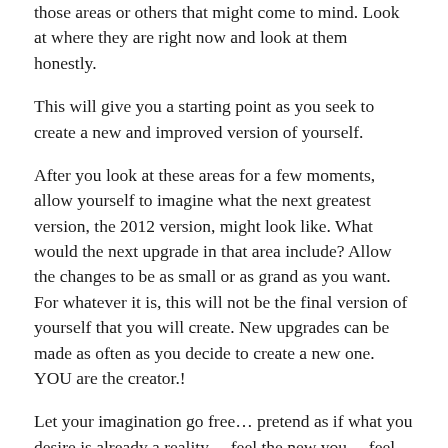those areas or others that might come to mind. Look at where they are right now and look at them honestly.
This will give you a starting point as you seek to create a new and improved version of yourself.
After you look at these areas for a few moments, allow yourself to imagine what the next greatest version, the 2012 version, might look like. What would the next upgrade in that area include? Allow the changes to be as small or as grand as you want. For whatever it is, this will not be the final version of yourself that you will create. New upgrades can be made as often as you decide to create a new one. YOU are the creator.!
Let your imagination go free… pretend as if what you desire is already a reality… feel the new you… feel the change. Ask yourself "What would my life be like if this version was operating already?" How would you act? Think? Speak? Be?
During the days ahead, let thoughts and ideas come to you